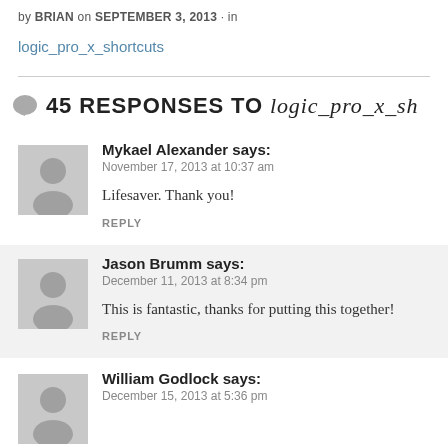by BRIAN on SEPTEMBER 3, 2013 · in
logic_pro_x_shortcuts
45 RESPONSES TO logic_pro_x_sh
Mykael Alexander says:
November 17, 2013 at 10:37 am
Lifesaver. Thank you!
REPLY
Jason Brumm says:
December 11, 2013 at 8:34 pm
This is fantastic, thanks for putting this together!
REPLY
William Godlock says:
December 15, 2013 at 5:36 pm